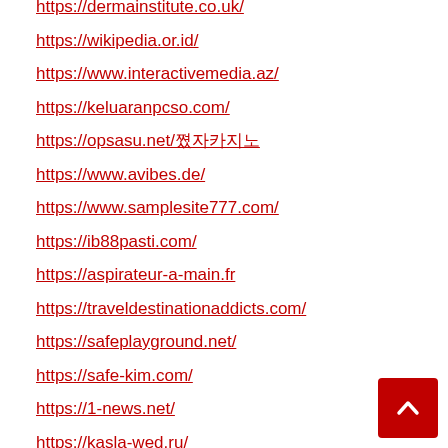https://dermainstitute.co.uk/
https://wikipedia.or.id/
https://www.interactivemedia.az/
https://keluaranpcso.com/
https://opsasu.net/우리카지노
https://www.avibes.de/
https://www.samplesite777.com/
https://ib88pasti.com/
https://aspirateur-a-main.fr
https://traveldestinationaddicts.com/
https://safeplayground.net/
https://safe-kim.com/
https://1-news.net/
https://kasla-wed.ru/
https://inak918.net/